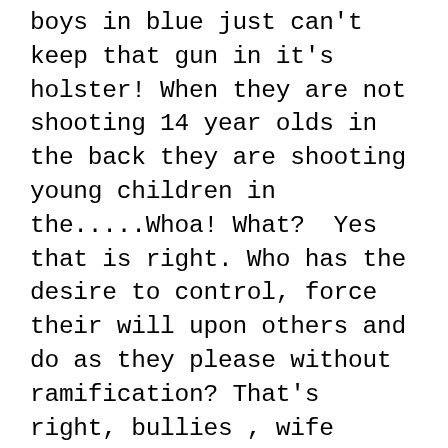boys in blue just can't keep that gun in it's holster! When they are not shooting 14 year olds in the back they are shooting young children in the.....Whoa! What?  Yes that is right. Who has the desire to control, force their will upon others and do as they please without ramification? That's right, bullies , wife beaters , abusers, child molesters other forms of sociopaths.    What more can I say? Who chooses a life of ordering people around at the threat of death or imprisonment while being backed up by a virtual army of like minded miscreants? Yes , I think you have the answer, and as long as those type of people are chosen for the job, nothing is